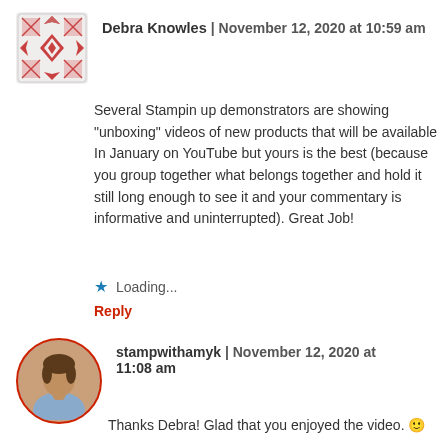Debra Knowles | November 12, 2020 at 10:59 am
Several Stampin up demonstrators are showing “unboxing” videos of new products that will be available In January on YouTube but yours is the best (because you group together what belongs together and hold it still long enough to see it and your commentary is informative and uninterrupted). Great Job!
Loading...
Reply
stampwithamyk | November 12, 2020 at 11:08 am
Thanks Debra! Glad that you enjoyed the video.